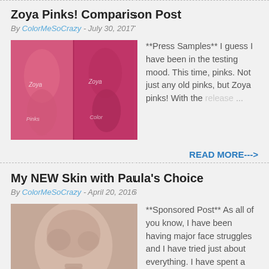Zoya Pinks! Comparison Post
By ColorMeSoCrazy - July 30, 2017
[Figure (photo): Photo of pink nail polish comparison on hands]
**Press Samples** I guess I have been in the testing mood. This time, pinks. Not just any old pinks, but Zoya pinks! With the release ...
READ MORE--->
My NEW Skin with Paula's Choice
By ColorMeSoCrazy - April 20, 2016
[Figure (photo): Before photo of woman's face/skin]
**Sponsored Post** As all of you know, I have been having major face struggles and I have tried just about everything. I have spent a lo ...